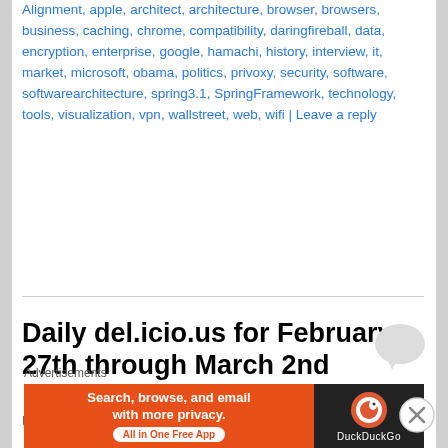Alignment, apple, architect, architecture, browser, browsers, business, caching, chrome, compatibility, daringfireball, data, encryption, enterprise, google, hamachi, history, interview, it, market, microsoft, obama, politics, privoxy, security, software, softwarearchitecture, spring3.1, SpringFramework, technology, tools, visualization, vpn, wallstreet, web, wifi | Leave a reply
Daily del.icio.us for February 27th through March 2nd
Posted on March 2, 2010
GAEJ Experiments eBook « Google App Engine Java Experiments – I am pleased to announce to
Advertisements
[Figure (infographic): DuckDuckGo advertisement banner: orange left section with text 'Search, browse, and email with more privacy. All in One Free App' and dark right section with DuckDuckGo logo and name.]